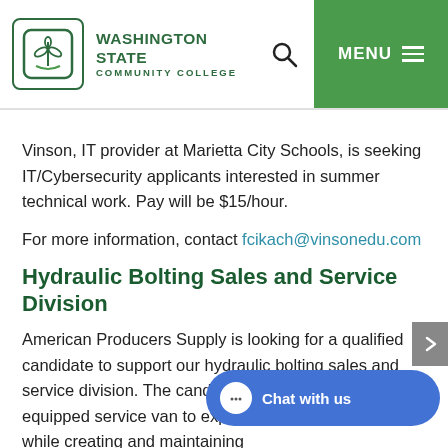WASHINGTON STATE COMMUNITY COLLEGE
Vinson, IT provider at Marietta City Schools, is seeking IT/Cybersecurity applicants interested in summer technical work. Pay will be $15/hour.
For more information, contact fcikach@vinsonedu.com
Hydraulic Bolting Sales and Service Division
American Producers Supply is looking for a qualified candidate to support our hydraulic bolting sales and service division. The candidate will use the fully equipped service van to expand our growing market, while creating and maintaining